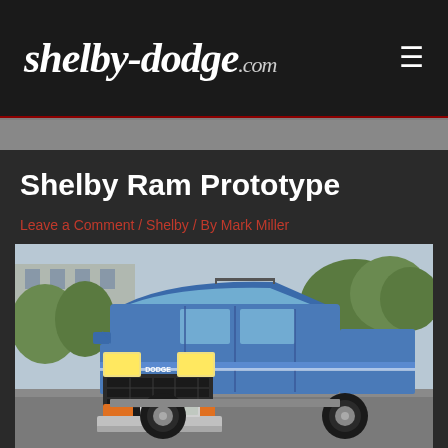shelby-dodge.com
Shelby Ram Prototype
Leave a Comment / Shelby / By Mark Miller
[Figure (photo): Front three-quarter view of a blue Dodge Ram pickup truck (Shelby Ram Prototype) parked in a lot with trees and a building in the background.]